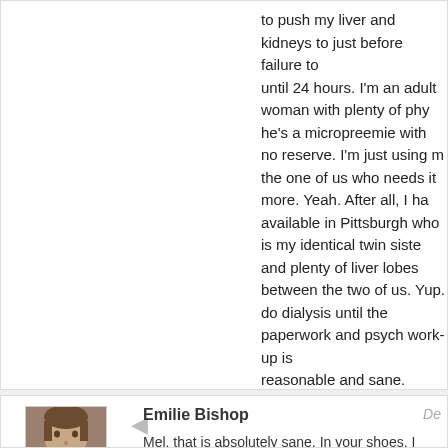to push my liver and kidneys to just before failure until 24 hours. I'm an adult woman with plenty of phy he's a micropreemie with no reserve. I'm just using the one of us who needs it more. Yeah. After all, I ha available in Pittsburgh who is my identical twin siste and plenty of liver lobes between the two of us. Yup. do dialysis until the paperwork and psych work-up is reasonable and sane.

I fell asleep for an hour or so around 4 in the mornin realized that my plan had the flaw of toxic metabolite placenta.

I never told my OB of my plan – but I don't think it's parents of children at risk. I was doing what parents to take the risk and danger on myself instead of my
[Figure (photo): Avatar photo of a child/person, brownish tones]
Log in to Reply
Emilie Bishop
De
Mel, that is absolutely sane. In your shoes, I wou same thing. I'm sorry you had to, and I'm gratefu so far in the past year.